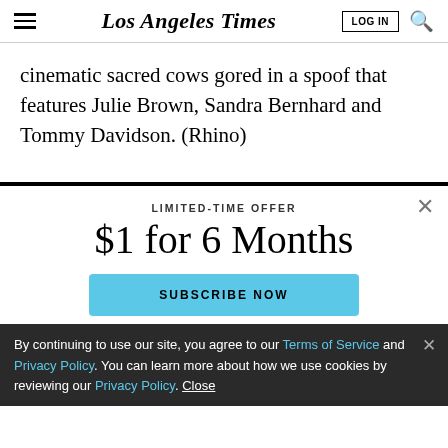Los Angeles Times
cinematic sacred cows gored in a spoof that features Julie Brown, Sandra Bernhard and Tommy Davidson. (Rhino)
LIMITED-TIME OFFER
$1 for 6 Months
SUBSCRIBE NOW
By continuing to use our site, you agree to our Terms of Service and Privacy Policy. You can learn more about how we use cookies by reviewing our Privacy Policy. Close